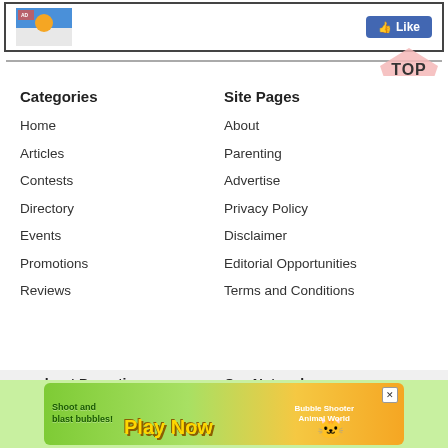[Figure (screenshot): Top banner with image thumbnail and Facebook Like button]
[Figure (other): TOP navigation badge with pink house shape]
Categories
Site Pages
Home
About
Articles
Parenting
Contests
Advertise
Directory
Privacy Policy
Events
Disclaimer
Promotions
Editorial Opportunities
Reviews
Terms and Conditions
about Parenting
Our Network
[Figure (screenshot): Bubble Shooter Animal World game advertisement banner]